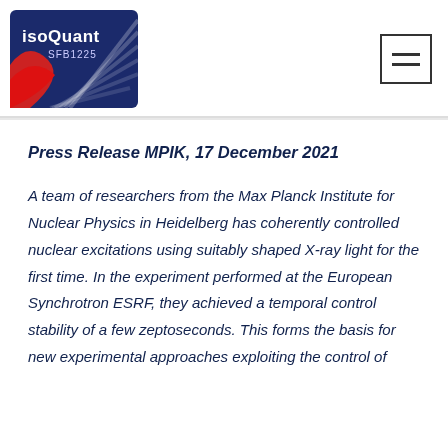[Figure (logo): IsoQuant SFB1225 logo — navy blue shield shape with red wave and white/grey fan lines, text 'isoQuant SFB1225' in white]
Press Release MPIK, 17 December 2021
A team of researchers from the Max Planck Institute for Nuclear Physics in Heidelberg has coherently controlled nuclear excitations using suitably shaped X-ray light for the first time. In the experiment performed at the European Synchrotron ESRF, they achieved a temporal control stability of a few zeptoseconds. This forms the basis for new experimental approaches exploiting the control of